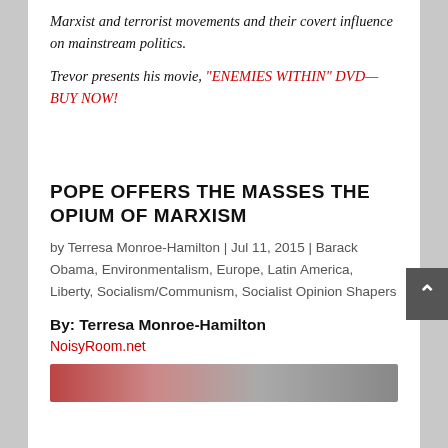Marxist and terrorist movements and their covert influence on mainstream politics.
Trevor presents his movie, "ENEMIES WITHIN" DVD—BUY NOW!
POPE OFFERS THE MASSES THE OPIUM OF MARXISM
by Terresa Monroe-Hamilton | Jul 11, 2015 | Barack Obama, Environmentalism, Europe, Latin America, Liberty, Socialism/Communism, Socialist Opinion Shapers
By: Terresa Monroe-Hamilton
NoisyRoom.net
[Figure (photo): Partial view of a photo strip at the bottom of the page, showing colorful image content]